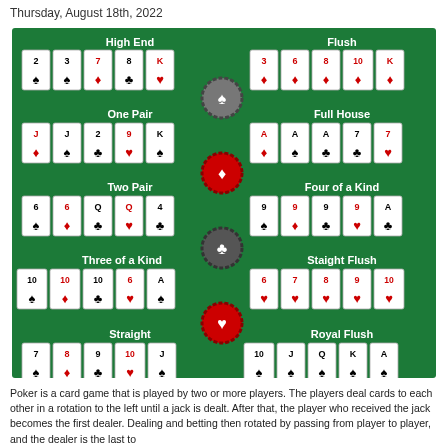Thursday, August 18th, 2022
[Figure (infographic): Poker hands reference chart on a green felt background showing 10 hand types: High End, One Pair, Two Pair, Three of a Kind, Straight (left column) and Flush, Full House, Four of a Kind, Straight Flush, Royal Flush (right column), with poker chips in the center representing suit symbols.]
Poker is a card game that is played by two or more players. The players deal cards to each other in a rotation to the left until a jack is dealt. After that, the player who received the jack becomes the first dealer. Dealing and betting then rotated by passing from player to player, and the dealer is the last to